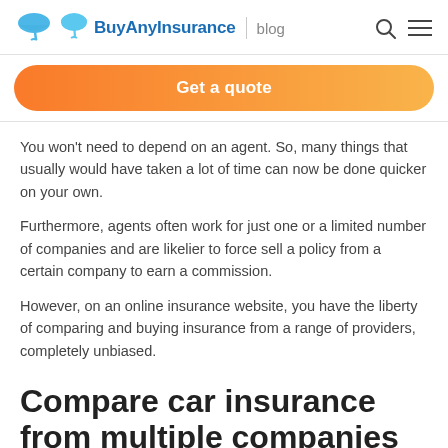BuyAnyInsurance | blog
Get a quote
You won't need to depend on an agent. So, many things that usually would have taken a lot of time can now be done quicker on your own.
Furthermore, agents often work for just one or a limited number of companies and are likelier to force sell a policy from a certain company to earn a commission.
However, on an online insurance website, you have the liberty of comparing and buying insurance from a range of providers, completely unbiased.
Compare car insurance from multiple companies